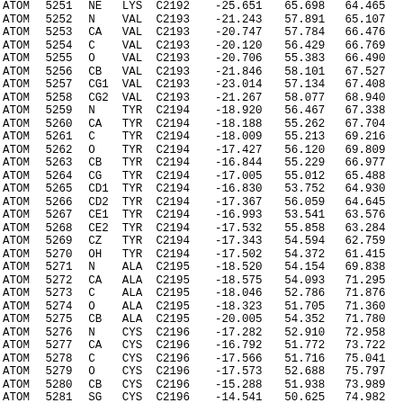| ATOM | 5251 | NE | LYS | C2192 |  | -25.651 | 65.698 | 64.465 |
| ATOM | 5252 | N | VAL | C2193 |  | -21.243 | 57.891 | 65.107 |
| ATOM | 5253 | CA | VAL | C2193 |  | -20.747 | 57.784 | 66.476 |
| ATOM | 5254 | C | VAL | C2193 |  | -20.120 | 56.429 | 66.769 |
| ATOM | 5255 | O | VAL | C2193 |  | -20.706 | 55.383 | 66.490 |
| ATOM | 5256 | CB | VAL | C2193 |  | -21.846 | 58.101 | 67.527 |
| ATOM | 5257 | CG1 | VAL | C2193 |  | -23.014 | 57.134 | 67.408 |
| ATOM | 5258 | CG2 | VAL | C2193 |  | -21.267 | 58.077 | 68.940 |
| ATOM | 5259 | N | TYR | C2194 |  | -18.920 | 56.467 | 67.338 |
| ATOM | 5260 | CA | TYR | C2194 |  | -18.188 | 55.262 | 67.704 |
| ATOM | 5261 | C | TYR | C2194 |  | -18.009 | 55.213 | 69.216 |
| ATOM | 5262 | O | TYR | C2194 |  | -17.427 | 56.120 | 69.809 |
| ATOM | 5263 | CB | TYR | C2194 |  | -16.844 | 55.229 | 66.977 |
| ATOM | 5264 | CG | TYR | C2194 |  | -17.005 | 55.012 | 65.488 |
| ATOM | 5265 | CD1 | TYR | C2194 |  | -16.830 | 53.752 | 64.930 |
| ATOM | 5266 | CD2 | TYR | C2194 |  | -17.367 | 56.059 | 64.645 |
| ATOM | 5267 | CE1 | TYR | C2194 |  | -16.993 | 53.541 | 63.576 |
| ATOM | 5268 | CE2 | TYR | C2194 |  | -17.532 | 55.858 | 63.284 |
| ATOM | 5269 | CZ | TYR | C2194 |  | -17.343 | 54.594 | 62.759 |
| ATOM | 5270 | OH | TYR | C2194 |  | -17.502 | 54.372 | 61.415 |
| ATOM | 5271 | N | ALA | C2195 |  | -18.520 | 54.154 | 69.838 |
| ATOM | 5272 | CA | ALA | C2195 |  | -18.575 | 54.093 | 71.295 |
| ATOM | 5273 | C | ALA | C2195 |  | -18.046 | 52.786 | 71.876 |
| ATOM | 5274 | O | ALA | C2195 |  | -18.323 | 51.705 | 71.360 |
| ATOM | 5275 | CB | ALA | C2195 |  | -20.005 | 54.352 | 71.780 |
| ATOM | 5276 | N | CYS | C2196 |  | -17.282 | 52.910 | 72.958 |
| ATOM | 5277 | CA | CYS | C2196 |  | -16.792 | 51.772 | 73.722 |
| ATOM | 5278 | C | CYS | C2196 |  | -17.566 | 51.716 | 75.041 |
| ATOM | 5279 | O | CYS | C2196 |  | -17.573 | 52.688 | 75.797 |
| ATOM | 5280 | CB | CYS | C2196 |  | -15.288 | 51.938 | 73.989 |
| ATOM | 5281 | SG | CYS | C2196 |  | -14.541 | 50.625 | 74.982 |